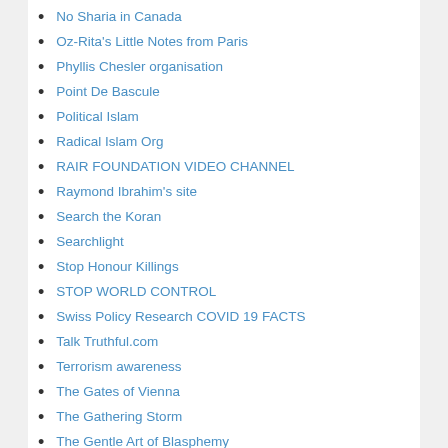No Sharia in Canada
Oz-Rita's Little Notes from Paris
Phyllis Chesler organisation
Point De Bascule
Political Islam
Radical Islam Org
RAIR FOUNDATION VIDEO CHANNEL
Raymond Ibrahim's site
Search the Koran
Searchlight
Stop Honour Killings
STOP WORLD CONTROL
Swiss Policy Research COVID 19 FACTS
Talk Truthful.com
Terrorism awareness
The Gates of Vienna
The Gathering Storm
The Gentle Art of Blasphemy
The Gorka analytics site
The Myth of the Andalusian Paradise
The Reference Frame
The Religion of Peace